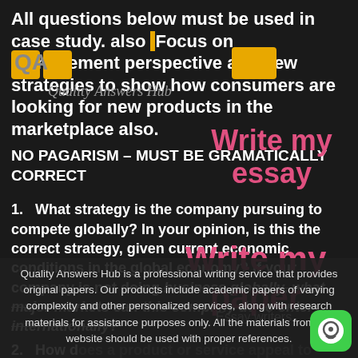All questions below must be used in case study. also Focus on management perspective and new strategies to show how consumers are looking for new products in the marketplace also.
NO PAGARISM – MUST BE GRAMATICALLY CORRECT
1. What strategy is the company pursuing to compete globally? In your opinion, is this the correct strategy, given current economic conditions in the global economy? If your company is not doing business globally, what major markets can this company do to enter internationally?
2. How does a product or service appeal to buyers? How vertically or horizontally integrated is the company?